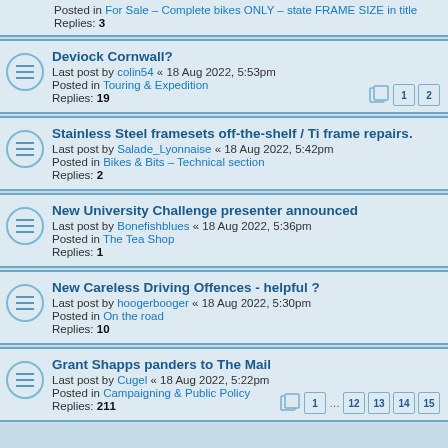Posted in For Sale – Complete bikes ONLY – state FRAME SIZE in title
Replies: 3
Deviock Cornwall?
Last post by colin54 « 18 Aug 2022, 5:53pm
Posted in Touring & Expedition
Replies: 19
Stainless Steel framesets off-the-shelf / Ti frame repairs.
Last post by Salade_Lyonnaise « 18 Aug 2022, 5:42pm
Posted in Bikes & Bits – Technical section
Replies: 2
New University Challenge presenter announced
Last post by Bonefishblues « 18 Aug 2022, 5:36pm
Posted in The Tea Shop
Replies: 1
New Careless Driving Offences - helpful ?
Last post by hoogerbooger « 18 Aug 2022, 5:30pm
Posted in On the road
Replies: 10
Grant Shapps panders to The Mail
Last post by Cugel « 18 Aug 2022, 5:22pm
Posted in Campaigning & Public Policy
Replies: 211